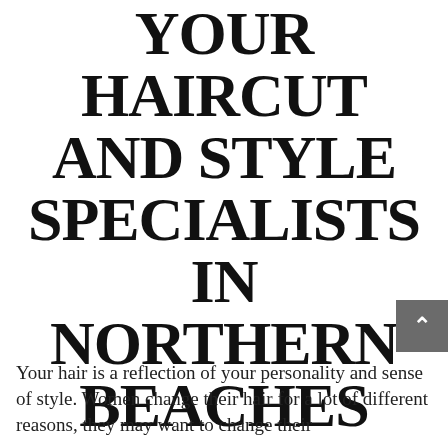YOUR HAIRCUT AND STYLE SPECIALISTS IN NORTHERN BEACHES
Your hair is a reflection of your personality and sense of style. Women change their hair for a lot of different reasons, they may want to change their...